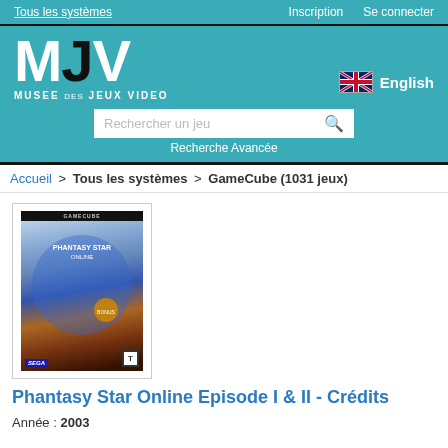Tous les systèmes | Inscription | Se connecter
[Figure (logo): MJV - Musee des Jeux Video logo with teal background, large white/black letters MJV]
English
Rechercher un jeu
Recherche Avancée
Accueil > Tous les systèmes > GameCube (1031 jeux)
[Figure (photo): Phantasy Star Online Episode I & II GameCube game cover art]
Phantasy Star Online Episode I & II - Crédits
Année : 2003